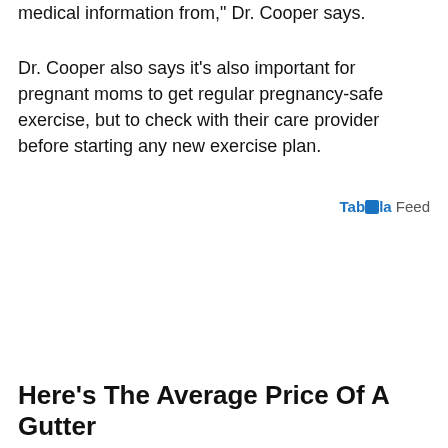medical information from," Dr. Cooper says.
Dr. Cooper also says it's also important for pregnant moms to get regular pregnancy-safe exercise, but to check with their care provider before starting any new exercise plan.
Taboola Feed
Here's The Average Price Of A Gutter